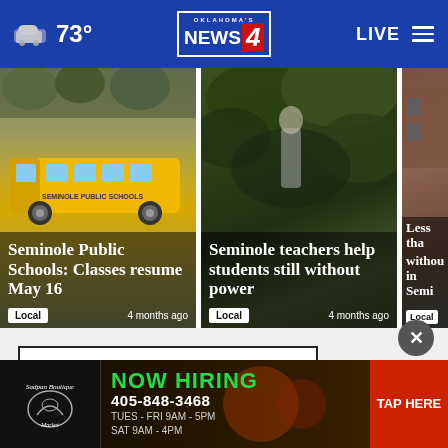73° Oklahoma's News 4 LIVE
[Figure (photo): School bus photo with overlay text: Seminole Public Schools: Classes resume May 16. Tag: Local, 4 months ago]
[Figure (photo): Foliage/nature photo with overlay text: Seminole teachers help students still without power. Tag: Local, 4 months ago]
[Figure (photo): Brick building partial photo with overlay text: Less tha... without... in Semi... Tag: Local]
More Tornado Coverage ›
TECH
[Figure (screenshot): Advertisement banner: NOW HIRING 405-848-3468, TUES - FRI 9AM - 5PM, SAT 9AM - 4PM, TAP HERE]